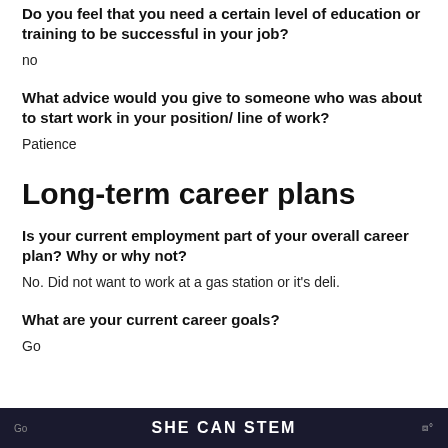Do you feel that you need a certain level of education or training to be successful in your job?
no
What advice would you give to someone who was about to start work in your position/ line of work?
Patience
Long-term career plans
Is your current employment part of your overall career plan? Why or why not?
No. Did not want to work at a gas station or it's deli.
What are your current career goals?
Go
SHE CAN STEM